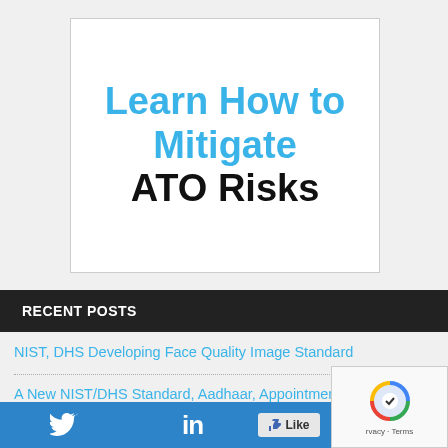[Figure (illustration): White box with text: 'Learn How to Mitigate ATO Risks' — 'Learn How to Mitigate' in light blue bold, 'ATO Risks' in black bold]
RECENT POSTS
NIST, DHS Developing Face Quality Image Standard
A New NIST/DHS Standard, Aadhaar, Appointment
[Figure (infographic): Social sharing bar with Twitter, LinkedIn, Facebook icons and a Like button; reCAPTCHA widget partially visible]